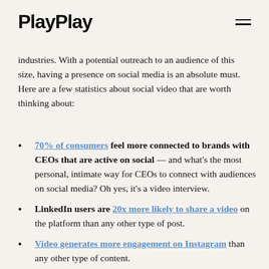PlayPlay
industries. With a potential outreach to an audience of this size, having a presence on social media is an absolute must. Here are a few statistics about social video that are worth thinking about:
70% of consumers feel more connected to brands with CEOs that are active on social — and what's the most personal, intimate way for CEOs to connect with audiences on social media? Oh yes, it's a video interview.
LinkedIn users are 20x more likely to share a video on the platform than any other type of post.
Video generates more engagement on Instagram than any other type of content.